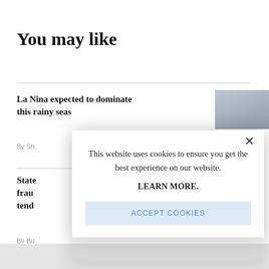You may like
La Nina expected to dominate this rainy seas
By Sh
State
frau
tend
By Bu
[Figure (screenshot): Cookie consent modal dialog on a news website. Modal shows text: 'This website uses cookies to ensure you get the best experience on our website.' followed by 'LEARN MORE.' and an 'ACCEPT COOKIES' button. Background shows 'You may like' section with article headlines partially visible. A close (X) button is in the top right of the modal.]